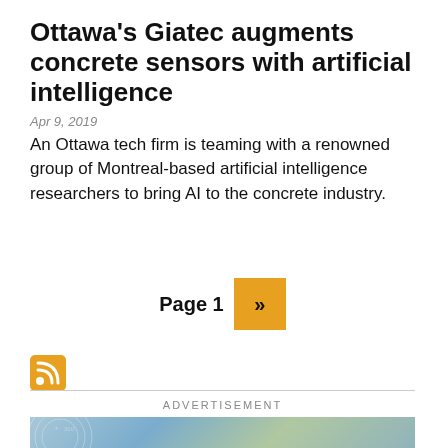Ottawa’s Giatec augments concrete sensors with artificial intelligence
Apr 9, 2019
An Ottawa tech firm is teaming with a renowned group of Montreal-based artificial intelligence researchers to bring AI to the concrete industry.
Page 1 »
[Figure (other): RSS feed icon, orange square with white RSS symbol]
ADVERTISEMENT
[Figure (photo): Advertisement banner with blue/teal background showing trees and text 'Join us in']